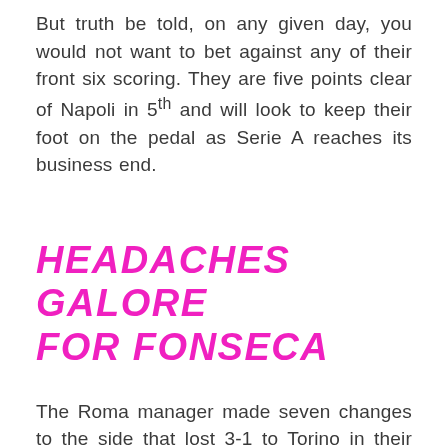But truth be told, on any given day, you would not want to bet against any of their front six scoring. They are five points clear of Napoli in 5th and will look to keep their foot on the pedal as Serie A reaches its business end.
HEADACHES GALORE FOR FONSECA
The Roma manager made seven changes to the side that lost 3-1 to Torino in their last match day but he would be a concerned man right now as his team's defence offered almost no cover for their goalkeeper when it was 11 vs. 11.